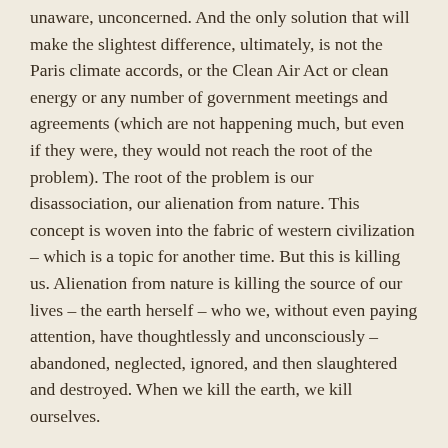unaware, unconcerned. And the only solution that will make the slightest difference, ultimately, is not the Paris climate accords, or the Clean Air Act or clean energy or any number of government meetings and agreements (which are not happening much, but even if they were, they would not reach the root of the problem). The root of the problem is our disassociation, our alienation from nature. This concept is woven into the fabric of western civilization – which is a topic for another time. But this is killing us. Alienation from nature is killing the source of our lives – the earth herself – who we, without even paying attention, have thoughtlessly and unconsciously – abandoned, neglected, ignored, and then slaughtered and destroyed. When we kill the earth, we kill ourselves.
The first thing we can do – is un-alienate ourselves. This may not save the planet. It is quite late for that and, until we can engage others, we are, by ourselves, just one person. Yet still we must start somewhere. We must shine a small light into the